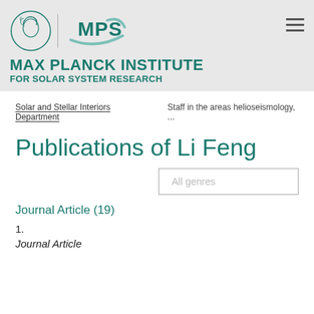MAX PLANCK INSTITUTE FOR SOLAR SYSTEM RESEARCH
Solar and Stellar Interiors Department   Staff in the areas helioseismology, ...
Publications of Li Feng
All genres
Journal Article (19)
1.
Journal Article